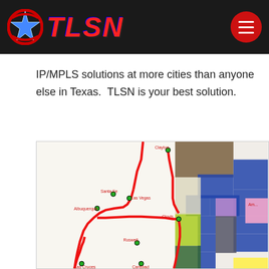TLSN
IP/MPLS solutions at more cities than anyone else in Texas.  TLSN is your best solution.
[Figure (map): Network route map showing TLSN fiber routes (red lines) through New Mexico and into Texas, with city markers at Santa Fe, Las Vegas, Albuquerque, Clovis, Roswell, Clayton, Las Cruces, and Carlsbad. The right side shows a regional county map with color-coded areas.]